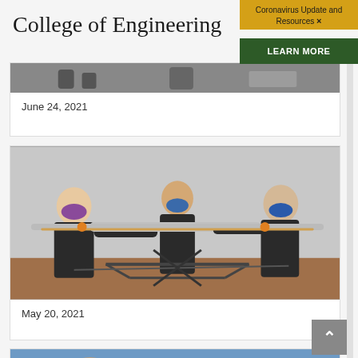College of Engineering
Coronavirus Update and Resources ×
LEARN MORE
June 24, 2021
[Figure (photo): Three students wearing masks working with engineering components at a workbench]
May 20, 2021
[Figure (photo): Partial view of a person outdoors, bottom card]